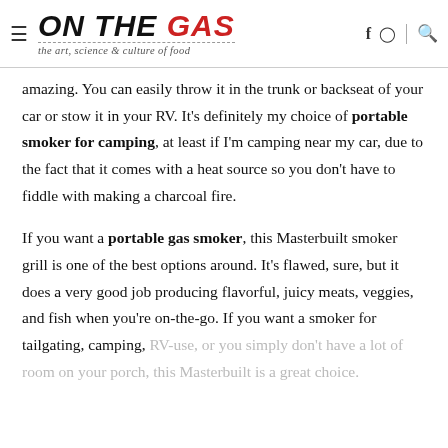ON THE GAS — the art, science & culture of food
amazing. You can easily throw it in the trunk or backseat of your car or stow it in your RV. It's definitely my choice of portable smoker for camping, at least if I'm camping near my car, due to the fact that it comes with a heat source so you don't have to fiddle with making a charcoal fire.
If you want a portable gas smoker, this Masterbuilt smoker grill is one of the best options around. It's flawed, sure, but it does a very good job producing flavorful, juicy meats, veggies, and fish when you're on-the-go. If you want a smoker for tailgating, camping, RV-use, or you simply don't have a lot of room on your porch, this Masterbuilt is a great choice.